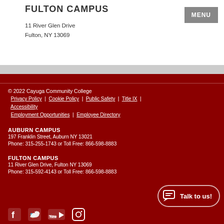FULTON CAMPUS
11 River Glen Drive
Fulton, NY 13069
© 2022 Cayuga Community College
Privacy Policy | Cookie Policy | Public Safety | Title IX | Accessibility
Employment Opportunities | Employee Directory
AUBURN CAMPUS
197 Franklin Street, Auburn NY 13021
Phone: 315-255-1743 or Toll Free: 866-598-8883
FULTON CAMPUS
11 River Glen Drive, Fulton NY 13069
Phone: 315-592-4143 or Toll Free: 866-598-8883
[Figure (infographic): Talk to us! chat bubble widget with speech icon]
[Figure (infographic): Social media icons: Facebook, Twitter, YouTube, Instagram]